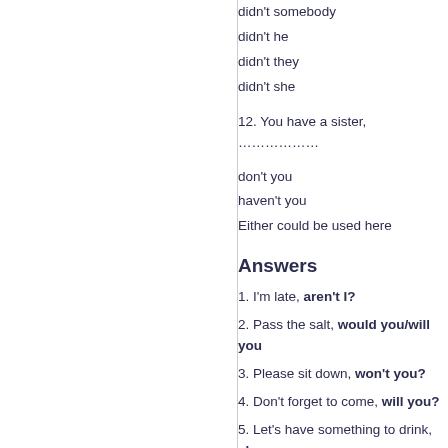didn't somebody
didn't he
didn't they
didn't she
12. You have a sister, ………………
don't you
haven't you
Either could be used here
Answers
1. I'm late, aren't I?
2. Pass the salt, would you/will you
3. Please sit down, won't you?
4. Don't forget to come, will you?
5. Let's have something to drink, sha
6. There is something wrong with the
7. There are no problems, are there?
8. You never tell me what you are thi